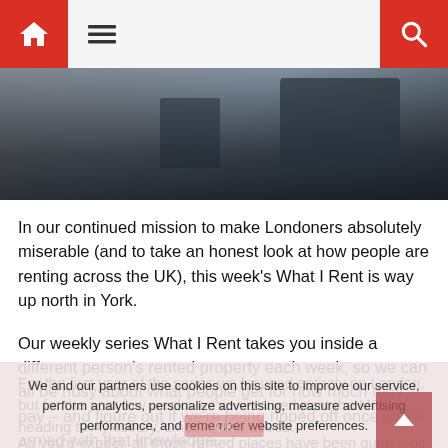Navigation bar with home icon, hamburger menu, and search icon
[Figure (photo): A dark-toned photo showing the top of a room interior, partially cropped]
In our continued mission to make Londoners absolutely miserable (and to take an honest look at how people are renting across the UK), this week's What I Rent is way up north in York.
Our weekly series What I Rent takes you inside a different person's rented property each week, so we can all be nosy about what people get for how much they pay – and figure out if we're being ripped off once we're armed with that knowledge.
For the first year of the series we focused entirely on London, but for the past few weeks we've ventured past the M25, heading to Aylesbury, Lincoln, and Leeds.
We and our partners use cookies on this site to improve our service, perform analytics, personalize advertising, measure advertising performance, and remember website preferences.
As you'd expect, all those rented places have been quite a bit cheaper